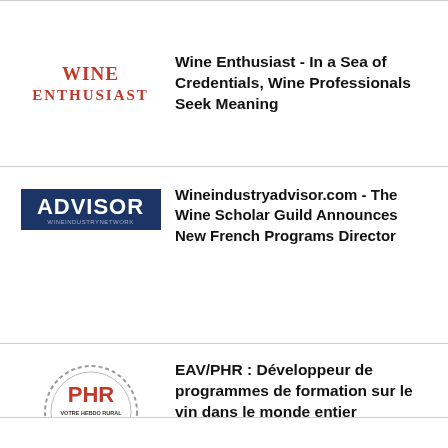[Figure (logo): Wine Enthusiast logo in red serif text]
Wine Enthusiast - In a Sea of Credentials, Wine Professionals Seek Meaning
[Figure (logo): Advisor - Wine Industry Network logo, white text on dark blue background]
Wineindustryadvisor.com - The Wine Scholar Guild Announces New French Programs Director
[Figure (logo): PHR - Votre Hebdo Rural L'Est agricole et viticole logo with circular stamp design]
EAV/PHR : Développeur de programmes de formation sur le vin dans le monde entier